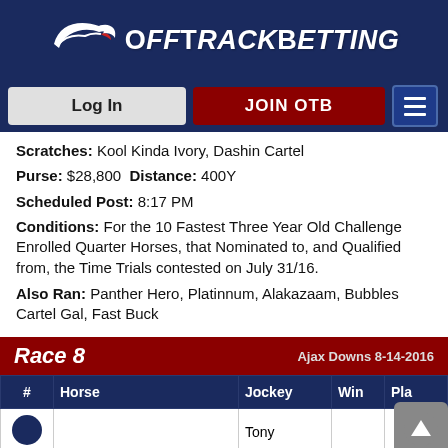[Figure (logo): OffTrackBetting logo with running horse icon and white text on dark navy background]
[Figure (screenshot): Navigation bar with Log In button, JOIN OTB button, and hamburger menu icon]
Scratches: Kool Kinda Ivory, Dashin Cartel
Purse: $28,800 Distance: 400Y
Scheduled Post: 8:17 PM
Conditions: For the 10 Fastest Three Year Old Challenge Enrolled Quarter Horses, that Nominated to, and Qualified from, the Time Trials contested on July 31/16.
Also Ran: Panther Hero, Platinnum, Alakazaam, Bubbles Cartel Gal, Fast Buck
| # | Horse | Jockey | Win | Pla |
| --- | --- | --- | --- | --- |
|  |  | Tony |  |  |